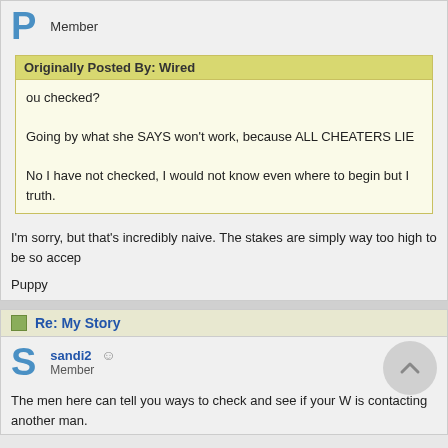P   Member
Originally Posted By: Wired
ou checked?

Going by what she SAYS won't work, because ALL CHEATERS LIE

No I have not checked, I would not know even where to begin but I truth.
I'm sorry, but that's incredibly naive. The stakes are simply way too high to be so accep
Puppy
Re: My Story
sandi2   Member
The men here can tell you ways to check and see if your W is contacting another man.